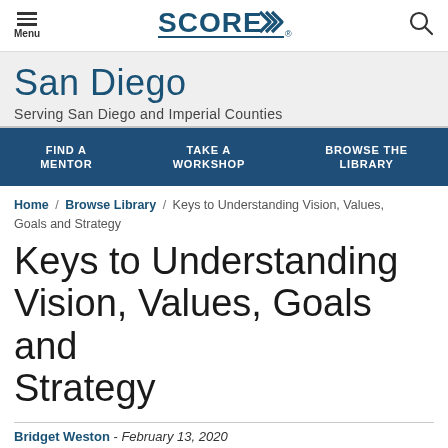Menu | SCORE | (search icon)
San Diego
Serving San Diego and Imperial Counties
FIND A MENTOR | TAKE A WORKSHOP | BROWSE THE LIBRARY
Home / Browse Library / Keys to Understanding Vision, Values, Goals and Strategy
Keys to Understanding Vision, Values, Goals and Strategy
Bridget Weston - February 13, 2020
ARTICLE LANGUAGE: English